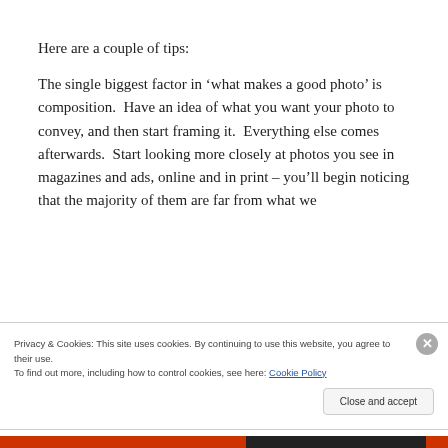Here are a couple of tips:
The single biggest factor in ‘what makes a good photo’ is composition.  Have an idea of what you want your photo to convey, and then start framing it.  Everything else comes afterwards.  Start looking more closely at photos you see in magazines and ads, online and in print – you’ll begin noticing that the majority of them are far from what we
Privacy & Cookies: This site uses cookies. By continuing to use this website, you agree to their use.
To find out more, including how to control cookies, see here: Cookie Policy
Close and accept